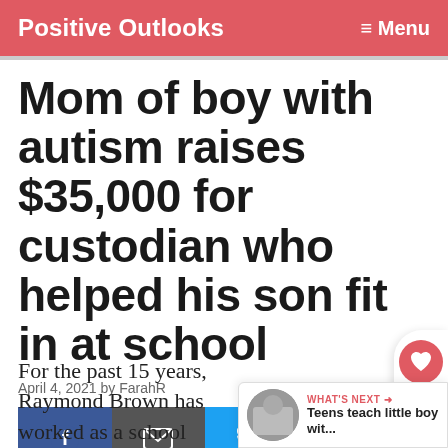Positive Outlooks   ≡ Menu
Mom of boy with autism raises $35,000 for custodian who helped his son fit in at school
April 4, 2021 by FarahR
[Figure (other): Social share buttons: Facebook, Email, Twitter, Pinterest]
For the past 15 years, Raymond Brown has worked as a school